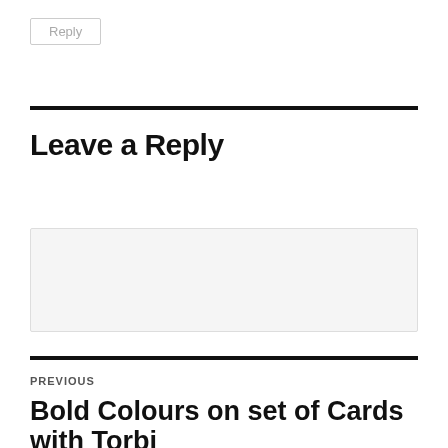Reply
Leave a Reply
Enter your comment here...
PREVIOUS
Bold Colours on set of Cards with Torbi